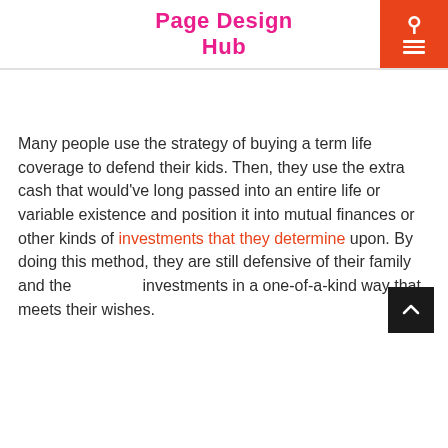Page Design Hub
Many people use the strategy of buying a term life coverage to defend their kids. Then, they use the extra cash that would've long passed into an entire life or variable existence and position it into mutual finances or other kinds of investments that they determine upon. By doing this method, they are still defensive of their family and the investments in a one-of-a-kind way that meets their wishes.